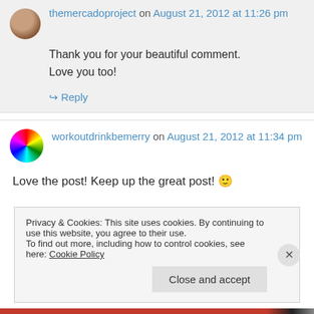themercadoproject on August 21, 2012 at 11:26 pm
Thank you for your beautiful comment. Love you too!
↳ Reply
workoutdrinkbemerry on August 21, 2012 at 11:34 pm
Love the post! Keep up the great post! 🙂
Privacy & Cookies: This site uses cookies. By continuing to use this website, you agree to their use. To find out more, including how to control cookies, see here: Cookie Policy
Close and accept